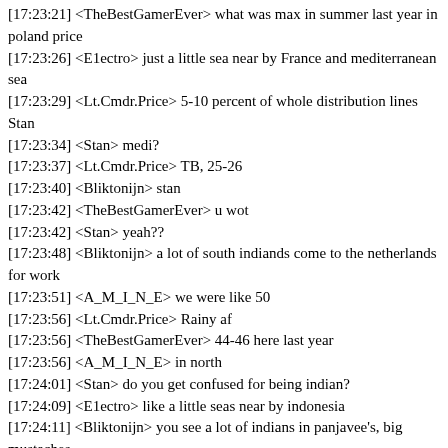[17:23:21] <TheBestGamerEver> what was max in summer last year in poland price
[17:23:26] <E1ectro> just a little sea near by France and mediterranean sea
[17:23:29] <Lt.Cmdr.Price> 5-10 percent of whole distribution lines Stan
[17:23:34] <Stan> medi?
[17:23:37] <Lt.Cmdr.Price> TB, 25-26
[17:23:40] <Bliktonijn> stan
[17:23:42] <TheBestGamerEver> u wot
[17:23:42] <Stan> yeah??
[17:23:48] <Bliktonijn> a lot of south indiands come to the netherlands for work
[17:23:51] <A_M_I_N_E> we were like 50
[17:23:56] <Lt.Cmdr.Price> Rainy af
[17:23:56] <TheBestGamerEver> 44-46 here last year
[17:23:56] <A_M_I_N_E> in north
[17:24:01] <Stan> do you get confused for being indian?
[17:24:09] <E1ectro> like a little seas near by indonesia
[17:24:11] <Bliktonijn> you see a lot of indians in panjavee's, big mustaches
[17:24:17] <A_M_I_N_E> but don't see our deserts yet
[17:24:17] <Stan> xD
[17:24:17] <E1ectro> they are so little
[17:24:19] <Bliktonijn> yeah
[17:24:22] <TheBestGamerEver> if it reaches hit its 40 there is...